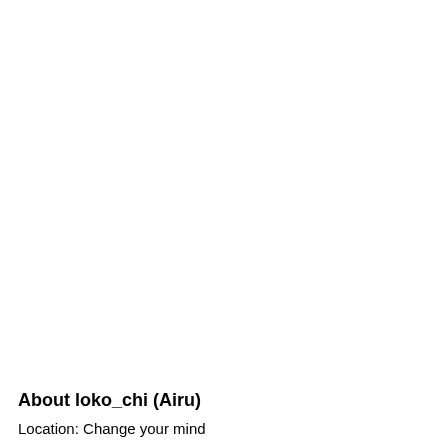[Figure (other): Blue button with white bold text reading CLICK HERE TO JOIN AND, with yellow bold text LOKO_CHI below it]
About loko_chi (Airu)
Location: Change your mind